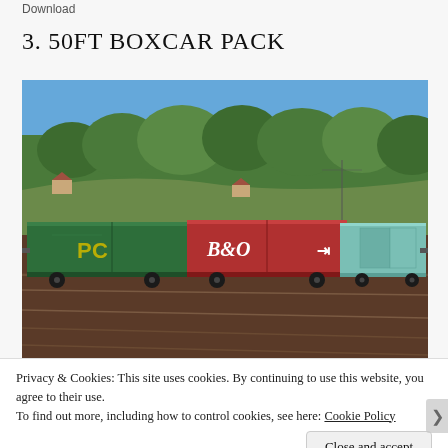Download
3. 50FT BOXCAR PACK
[Figure (photo): Train simulation screenshot showing three 50ft boxcars on railroad tracks: a green Penn Central boxcar on the left, a red B&O boxcar in the center, and a teal/mint colored boxcar on the right. Background shows green trees, hillside, and blue sky with a dirt/brown foreground with railroad tracks.]
Privacy & Cookies: This site uses cookies. By continuing to use this website, you agree to their use.
To find out more, including how to control cookies, see here: Cookie Policy
Close and accept